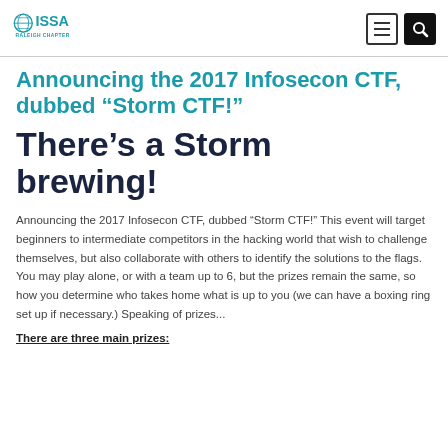ISSA RALEIGH CHAPTER
Announcing the 2017 Infosecon CTF, dubbed “Storm CTF!”
There’s a Storm brewing!
Announcing the 2017 Infosecon CTF, dubbed “Storm CTF!” This event will target beginners to intermediate competitors in the hacking world that wish to challenge themselves, but also collaborate with others to identify the solutions to the flags. You may play alone, or with a team up to 6, but the prizes remain the same, so how you determine who takes home what is up to you (we can have a boxing ring set up if necessary.) Speaking of prizes...
There are three main prizes: